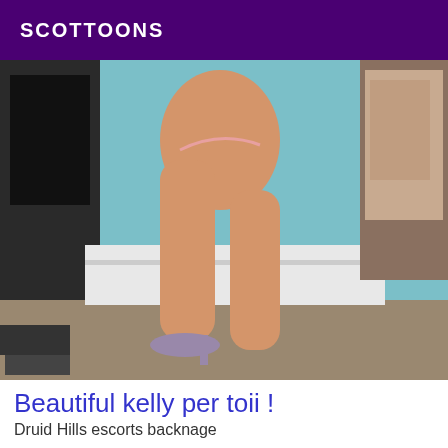SCOTTOONS
[Figure (photo): A woman posing in a bathroom/bedroom setting wearing high heels and minimal clothing, standing next to a TV and bathtub.]
Beautiful kelly per toii !
Druid Hills escorts backnage